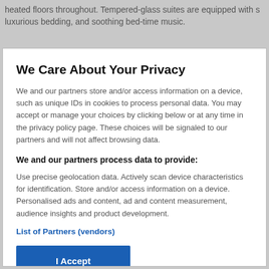heated floors throughout. Tempered-glass suites are equipped with s luxurious bedding, and soothing bed-time music.
We Care About Your Privacy
We and our partners store and/or access information on a device, such as unique IDs in cookies to process personal data. You may accept or manage your choices by clicking below or at any time in the privacy policy page. These choices will be signaled to our partners and will not affect browsing data.
We and our partners process data to provide:
Use precise geolocation data. Actively scan device characteristics for identification. Store and/or access information on a device. Personalised ads and content, ad and content measurement, audience insights and product development.
List of Partners (vendors)
I Accept
Reject All